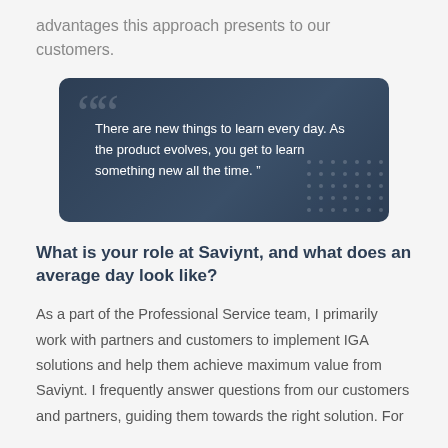advantages this approach presents to our customers.
[Figure (other): Dark blue rounded quote box with large decorative quotation marks and dot pattern. Quote text: 'There are new things to learn every day. As the product evolves, you get to learn something new all the time.']
What is your role at Saviynt, and what does an average day look like?
As a part of the Professional Service team, I primarily work with partners and customers to implement IGA solutions and help them achieve maximum value from Saviynt. I frequently answer questions from our customers and partners, guiding them towards the right solution. For